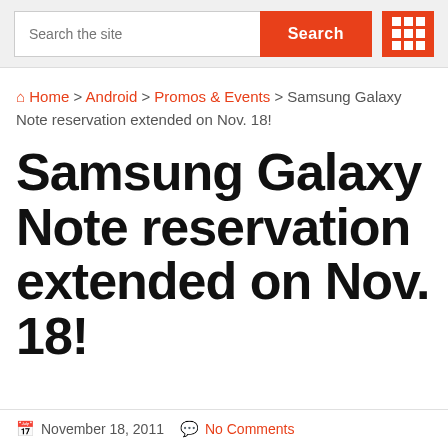Search the site | Search
Home > Android > Promos & Events > Samsung Galaxy Note reservation extended on Nov. 18!
Samsung Galaxy Note reservation extended on Nov. 18!
November 18, 2011  No Comments